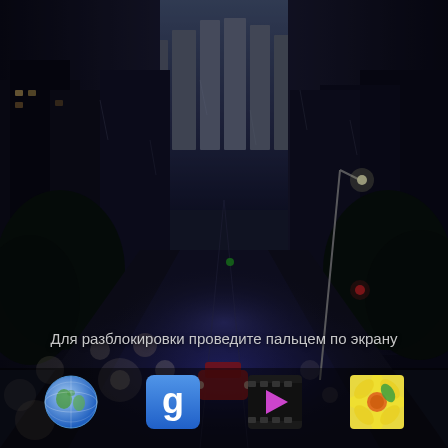[Figure (screenshot): Android phone lock screen showing a nighttime city street scene with rain, traffic lights and cars. Background is a dark urban street (likely New York City) with tall buildings on both sides, wet road reflecting headlights, trees, and a street lamp.]
Для разблокировки проведите пальцем по экрану
[Figure (infographic): Android lock screen dock with four app icons at the bottom: Globe/Internet browser icon, Google Search (stylized 'g') icon, Video player icon, and a flower/gallery icon.]